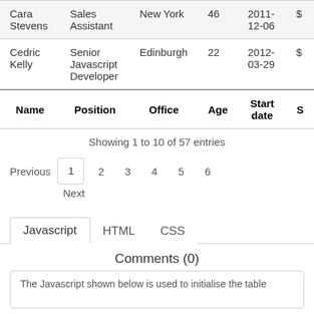| Name | Position | Office | Age | Start date | S |
| --- | --- | --- | --- | --- | --- |
| Cara Stevens | Sales Assistant | New York | 46 | 2011-12-06 | $ |
| Cedric Kelly | Senior Javascript Developer | Edinburgh | 22 | 2012-03-29 | $ |
| Name | Position | Office | Age | Start date | S |
| --- | --- | --- | --- | --- | --- |
Showing 1 to 10 of 57 entries
Previous  1  2  3  4  5  6  Next
Javascript  HTML  CSS
Comments (0)
The Javascript shown below is used to initialise the table